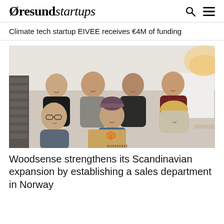Øresundstartups
Climate tech startup EIVEE receives €4M of funding
[Figure (photo): Group photo of 7 Woodsense team members in an office/workshop setting. Four standing in back row, three seated/kneeling in front. Person in front center holds a wooden Woodsense logo sign. A woman with glasses is on the left, a man with a beanie in the center, and a blonde woman on the right in the front row.]
Woodsense strengthens its Scandinavian expansion by establishing a sales department in Norway